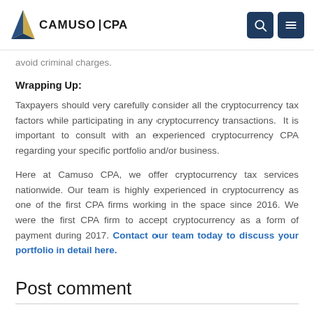CAMUSO CPA
avoid criminal charges.
Wrapping Up:
Taxpayers should very carefully consider all the cryptocurrency tax factors while participating in any cryptocurrency transactions.  It is important to consult with an experienced cryptocurrency CPA regarding your specific portfolio and/or business.
Here at Camuso CPA, we offer cryptocurrency tax services nationwide. Our team is highly experienced in cryptocurrency as one of the first CPA firms working in the space since 2016. We were the first CPA firm to accept cryptocurrency as a form of payment during 2017. Contact our team today to discuss your portfolio in detail here.
Post comment